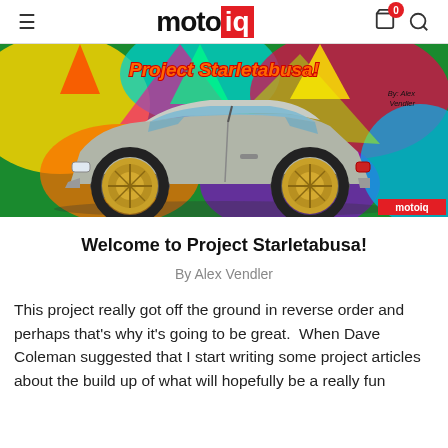motoiq — navigation header with hamburger menu, logo, cart (0), and search icons
[Figure (photo): Hero image of a Toyota Starlet modified car (silver/grey) with gold BBS-style wheels, parked in front of a colorful graffiti wall reading 'Project Starletabusa!' by Alex Vendler. MotoIQ watermark in bottom right corner.]
Welcome to Project Starletabusa!
By Alex Vendler
This project really got off the ground in reverse order and perhaps that's why it's going to be great.  When Dave Coleman suggested that I start writing some project articles about the build up of what will hopefully be a really fun